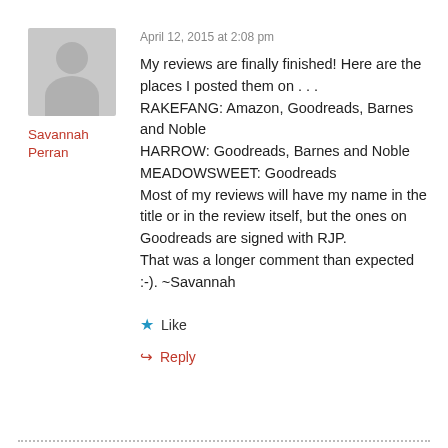[Figure (illustration): Gray default avatar placeholder with silhouette of a person (head and shoulders)]
Savannah Perran
April 12, 2015 at 2:08 pm
My reviews are finally finished! Here are the places I posted them on . . .
RAKEFANG: Amazon, Goodreads, Barnes and Noble
HARROW: Goodreads, Barnes and Noble
MEADOWSWEET: Goodreads
Most of my reviews will have my name in the title or in the review itself, but the ones on Goodreads are signed with RJP.
That was a longer comment than expected :-). ~Savannah
Like
Reply